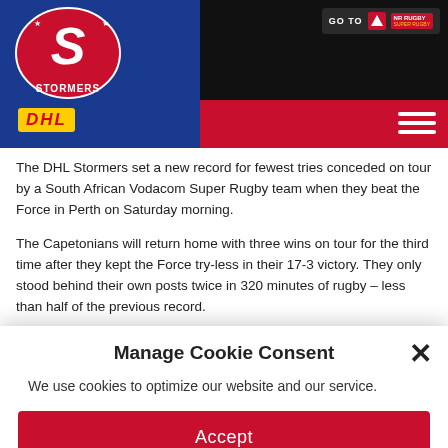[Figure (logo): DHL Stormers rugby team website header with Stormers logo, DHL sponsor logo, red navigation bar, GO TO button, and hamburger menu]
The DHL Stormers set a new record for fewest tries conceded on tour by a South African Vodacom Super Rugby team when they beat the Force in Perth on Saturday morning.
The Capetonians will return home with three wins on tour for the third time after they kept the Force try-less in their 17-3 victory. They only stood behind their own posts twice in 320 minutes of rugby – less than half of the previous record.
The Toyota Cheetahs let slip a massive lead to lose their seventh
Manage Cookie Consent
We use cookies to optimize our website and our service.
Accept
Deny